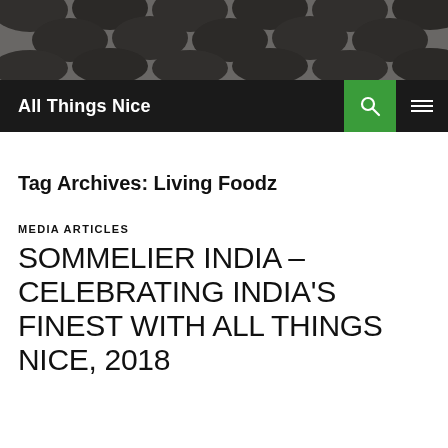[Figure (photo): Black and white header photo showing dark rounded objects (wine barrels or similar) arranged in rows]
All Things Nice
Tag Archives: Living Foodz
MEDIA ARTICLES
SOMMELIER INDIA – CELEBRATING INDIA'S FINEST WITH ALL THINGS NICE, 2018